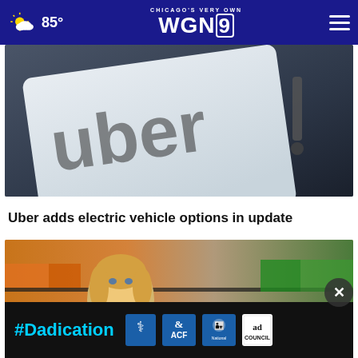Chicago's Very Own WGN9 — 85°
[Figure (photo): Close-up photo of an Uber logo card on a dark surface]
Uber adds electric vehicle options in update
[Figure (photo): Blonde woman in a grocery store with produce shelves in background]
[Figure (infographic): Advertisement banner: #Dadication with ACF, National Responsible Fatherhood Clearinghouse, and Ad Council logos]